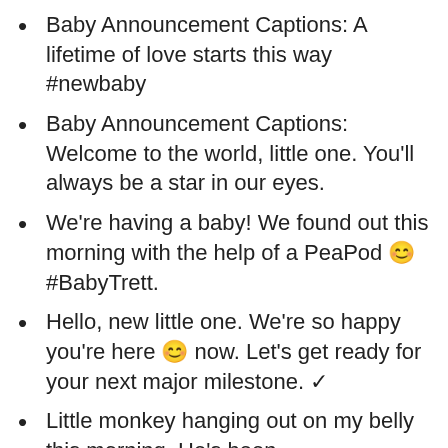Baby Announcement Captions: A lifetime of love starts this way #newbaby
Baby Announcement Captions: Welcome to the world, little one. You'll always be a star in our eyes.
We're having a baby! We found out this morning with the help of a PeaPod 😊 #BabyTrett.
Hello, new little one. We're so happy you're here 😊 now. Let's get ready for your next major milestone. ✓
Little monkey hanging out on my belly this morning. He's been